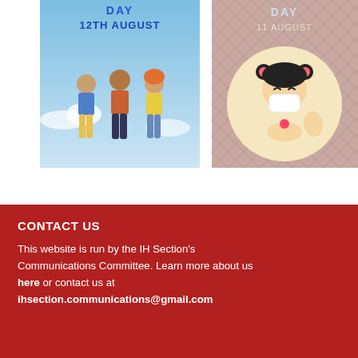[Figure (illustration): Illustration poster showing 'International Youth Day 12th August' with three young people standing together against a sky background]
[Figure (illustration): Illustration poster showing 'Day 11 August' with a cute cartoon girl wearing a face mask, pink hair accessories, inside a circle on a patterned background]
CONTACT US
This website is run by the IH Section's Communications Committee. Learn more about us here or contact us at ihsection.communications@gmail.com